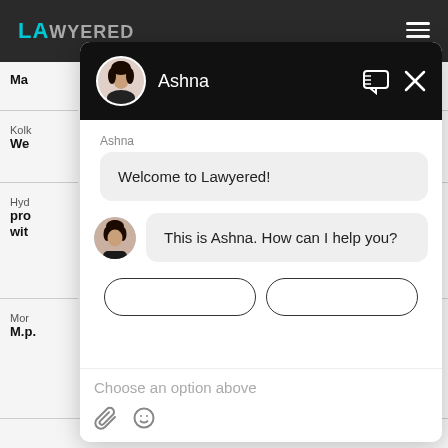[Figure (screenshot): Lawyered website chat widget popup. The page shows a dark top navigation bar with the Lawyered logo in teal and a hamburger menu. Behind the chat popup, partial website content is visible showing city names and bold text. The chat widget has a black header with a circular avatar photo of Ashna, her name, a chat icon, and an X button. The chat body shows 'Ashna' sender label with a welcome bubble 'Welcome to Lawyered!' and then a second message with avatar 'This is Ashna. How can I help you?' Below are two option buttons (partially visible), a 'Choose an option above' placeholder, and attachment/emoji icons at the bottom.]